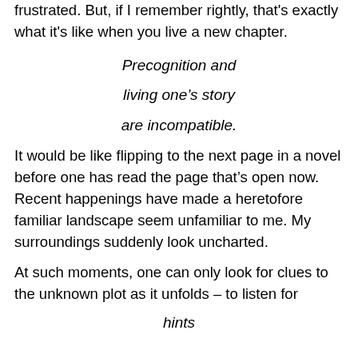frustrated.  But, if I remember rightly, that's exactly what it's like when you live a new chapter.
Precognition and

living one's story

are incompatible.
It would be like flipping to the next page in a novel before one has read the page that's open now.  Recent happenings have made a heretofore familiar landscape seem unfamiliar to me.  My surroundings suddenly look uncharted.
At such moments, one can only look for clues to the unknown plot as it unfolds – to listen for
hints